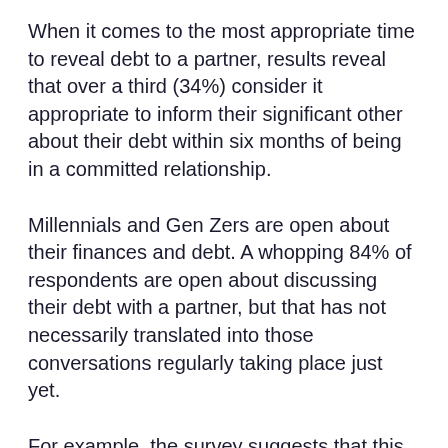When it comes to the most appropriate time to reveal debt to a partner, results reveal that over a third (34%) consider it appropriate to inform their significant other about their debt within six months of being in a committed relationship.
Millennials and Gen Zers are open about their finances and debt. A whopping 84% of respondents are open about discussing their debt with a partner, but that has not necessarily translated into those conversations regularly taking place just yet.
For example, the survey suggests that this openness is not always immediate. Of those with debt [chat icon] half (49%) have avoided discussing their debt with a partner when it comes up in conversation, and 65%